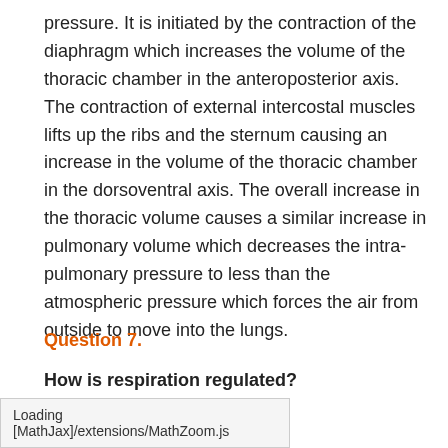pressure. It is initiated by the contraction of the diaphragm which increases the volume of the thoracic chamber in the anteroposterior axis. The contraction of external intercostal muscles lifts up the ribs and the sternum causing an increase in the volume of the thoracic chamber in the dorsoventral axis. The overall increase in the thoracic volume causes a similar increase in pulmonary volume which decreases the intra-pulmonary pressure to less than the atmospheric pressure which forces the air from outside to move into the lungs.
Question 7.
How is respiration regulated?
Solution
Loading [MathJax]/extensions/MathZoom.js